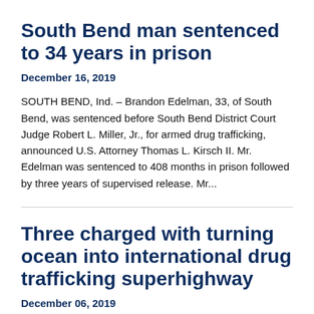South Bend man sentenced to 34 years in prison
December 16, 2019
SOUTH BEND, Ind. – Brandon Edelman, 33, of South Bend, was sentenced before South Bend District Court Judge Robert L. Miller, Jr., for armed drug trafficking, announced U.S. Attorney Thomas L. Kirsch II. Mr. Edelman was sentenced to 408 months in prison followed by three years of supervised release. Mr...
Three charged with turning ocean into international drug trafficking superhighway
December 06, 2019